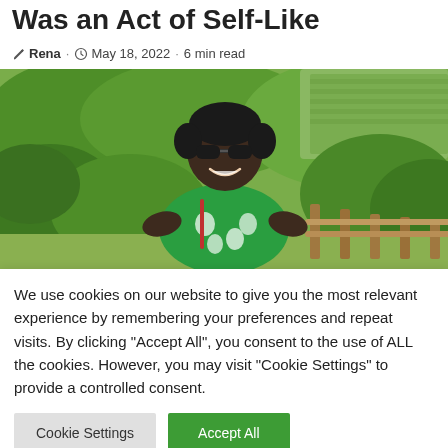Was an Act of Self-Like
Rena · May 18, 2022 · 6 min read
[Figure (photo): A smiling woman wearing sunglasses and a green floral dress, standing outdoors surrounded by green bushes and olive trees with a wooden fence in the background.]
We use cookies on our website to give you the most relevant experience by remembering your preferences and repeat visits. By clicking "Accept All", you consent to the use of ALL the cookies. However, you may visit "Cookie Settings" to provide a controlled consent.